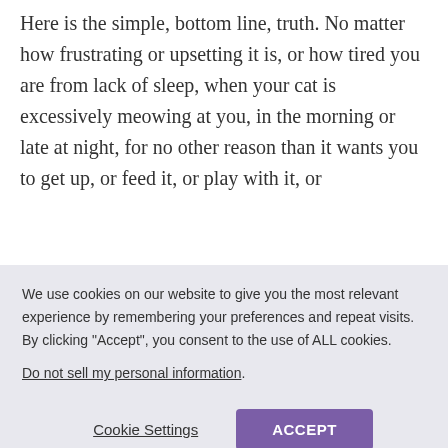Here is the simple, bottom line, truth. No matter how frustrating or upsetting it is, or how tired you are from lack of sleep, when your cat is excessively meowing at you, in the morning or late at night, for no other reason than it wants you to get up, or feed it, or play with it, or
We use cookies on our website to give you the most relevant experience by remembering your preferences and repeat visits. By clicking "Accept", you consent to the use of ALL cookies.
Do not sell my personal information.
Cookie Settings
ACCEPT